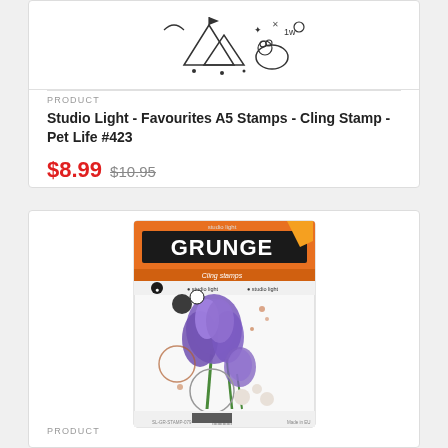[Figure (photo): Top portion of a product card showing stamp set with tent, animal and geometric shapes line art illustration]
PRODUCT
Studio Light - Favourites A5 Stamps - Cling Stamp - Pet Life #423
$8.99 $10.95
[Figure (photo): Studio Light Grunge cling stamp set featuring purple iris flowers with circular grunge elements on packaging]
PRODUCT